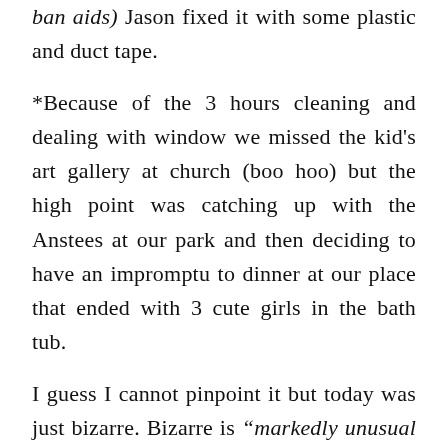ban aids) Jason fixed it with some plastic and duct tape.
*Because of the 3 hours cleaning and dealing with window we missed the kid's art gallery at church (boo hoo) but the high point was catching up with the Anstees at our park and then deciding to have an impromptu to dinner at our place that ended with 3 cute girls in the bath tub.
I guess I cannot pinpoint it but today was just bizarre. Bizarre is "markedly unusual in